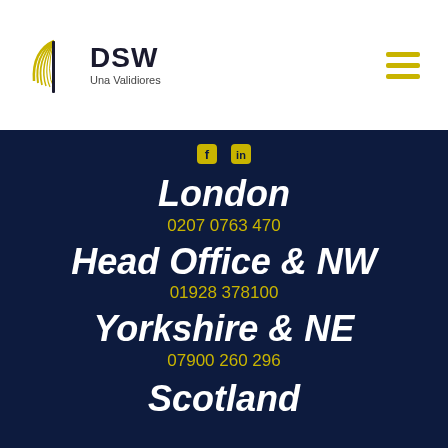[Figure (logo): DSW Una Validiores logo with circular arc and hamburger menu icon]
London
0207 0763 470
Head Office & NW
01928 378100
Yorkshire & NE
07900 260 296
Scotland